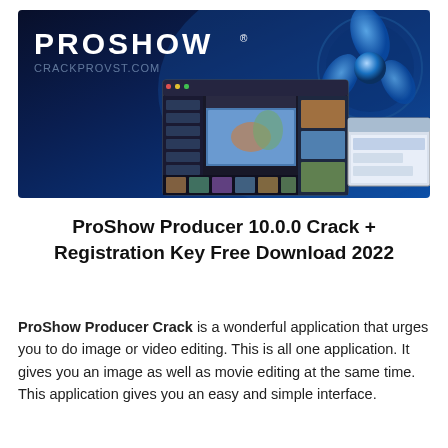[Figure (screenshot): ProShow Producer software banner with dark blue gradient background, 'PROSHOW' logo in white bold text with registered trademark symbol, 'CRACKPROVST.COM' watermark text, blue circular orb graphic in top right, and software interface screenshots showing image editing thumbnails in bottom right area.]
ProShow Producer 10.0.0 Crack + Registration Key Free Download 2022
ProShow Producer Crack is a wonderful application that urges you to do image or video editing. This is all one application. It gives you an image as well as movie editing at the same time. This application gives you an easy and simple interface.